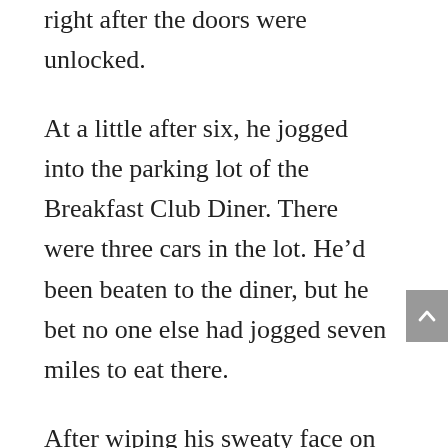right after the doors were unlocked.

At a little after six, he jogged into the parking lot of the Breakfast Club Diner. There were three cars in the lot. He'd been beaten to the diner, but he bet no one else had jogged seven miles to eat there.

After wiping his sweaty face on his shirt, he pulled open the door and entered. His gaze swept the room. It was a habit he suspected he'd have the rest of his life.

An older man sat in booth one, sipping coffee and flipping through the newspaper.